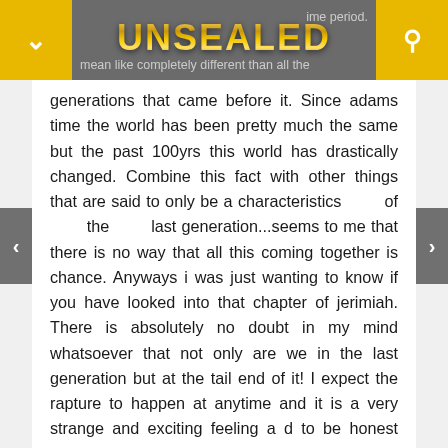UNSEALED
generations that came before it. Since adams time the world has been pretty much the same but the past 100yrs this world has drastically changed. Combine this fact with other things that are said to only be a characteristics of the last generation...seems to me that there is no way that all this coming together is chance. Anyways i was just wanting to know if you have looked into that chapter of jerimiah. There is absolutely no doubt in my mind whatsoever that not only are we in the last generation but at the tail end of it! I expect the rapture to happen at anytime and it is a very strange and exciting feeling a d to be honest kinda scary but in a good way, if that